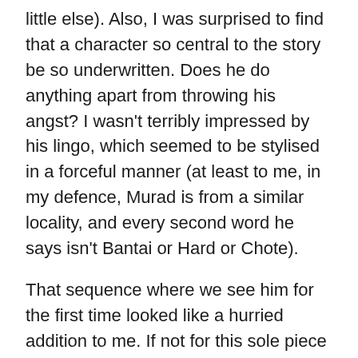little else). Also, I was surprised to find that a character so central to the story be so underwritten. Does he do anything apart from throwing his angst? I wasn't terribly impressed by his lingo, which seemed to be stylised in a forceful manner (at least to me, in my defence, Murad is from a similar locality, and every second word he says isn't Bantai or Hard or Chote).
That sequence where we see him for the first time looked like a hurried addition to me. If not for this sole piece of rap, he could have come across as a manifestation of toxic male dominant attitude.
Zoya finally incorporates some signpost masala